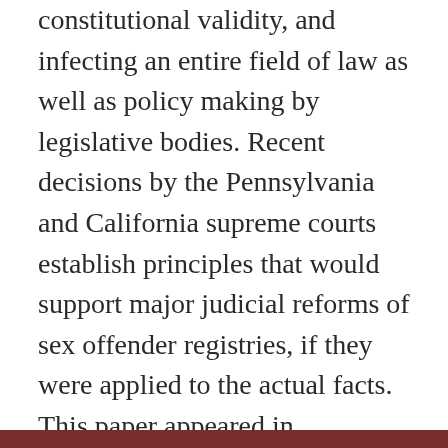constitutional validity, and infecting an entire field of law as well as policy making by legislative bodies. Recent decisions by the Pennsylvania and California supreme courts establish principles that would support major judicial reforms of sex offender registries, if they were applied to the actual facts. This paper appeared in Constitutional Commentary Fall, 2015.